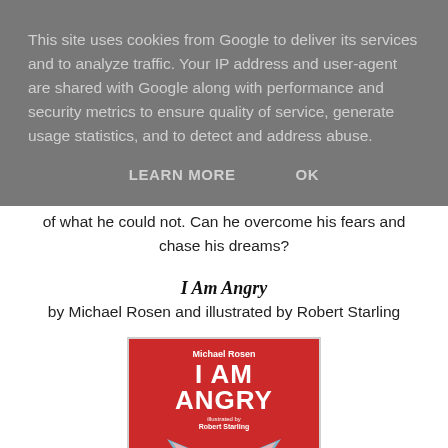This site uses cookies from Google to deliver its services and to analyze traffic. Your IP address and user-agent are shared with Google along with performance and security metrics to ensure quality of service, generate usage statistics, and to detect and address abuse.
LEARN MORE   OK
of what he could not. Can he overcome his fears and chase his dreams?
I Am Angry
by Michael Rosen and illustrated by Robert Starling
[Figure (illustration): Book cover of 'I Am Angry' by Michael Rosen, illustrated by Robert Starling. Red background with bold white title text 'I AM ANGRY', author name 'Michael Rosen' at top, illustrator credit 'illustrated by Robert Starling' below title, and a cartoon angry cat face in blue/grey tones at the bottom.]